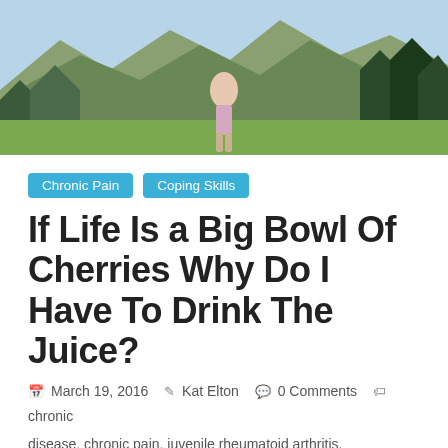[Figure (photo): Outdoor nature photo showing a person walking in a mountain meadow with trees and rocky peaks in the background.]
Chronic Pain
Coping Skills
If Life Is a Big Bowl Of Cherries Why Do I Have To Drink The Juice?
March 19, 2016  Kat Elton  0 Comments  chronic disease, chronic pain, juvenile rheumatoid arthritis, Rheumatoid Arthritis
I won’t be causing anyone to faint in shock when I say this: Life has become very complicated. This is especially true for those of us with chronic, painful diseases. There is so much information out there-  everywhere you turn, you will bump into an advertisement, blog, facebook